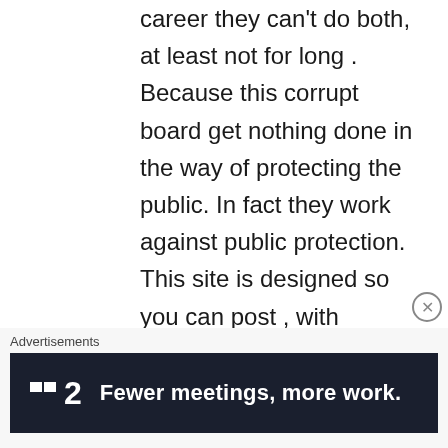career they can't do both, at least not for long . Because this corrupt board get nothing done in the way of protecting the public. In fact they work against public protection. This site is designed so you can post , with anonymously so if you have a current case with them , you can post to those who have been through it. The BON illegally tells nurses not to discuss their cases,
Advertisements
[Figure (infographic): Advertisement banner: dark navy background with a logo showing two small squares and the number 2, followed by bold white text 'Fewer meetings, more work.']